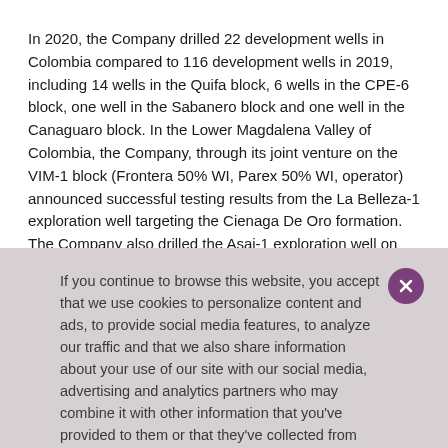In 2020, the Company drilled 22 development wells in Colombia compared to 116 development wells in 2019, including 14 wells in the Quifa block, 6 wells in the CPE-6 block, one well in the Sabanero block and one well in the Canaguaro block. In the Lower Magdalena Valley of Colombia, the Company, through its joint venture on the VIM-1 block (Frontera 50% WI, Parex 50% WI, operator) announced successful testing results from the La Belleza-1 exploration well targeting the Cienaga De Oro formation. The Company also drilled the Asai-1 exploration well on the Guama block which discovered hydrocarbons but not in commercial quantities and was subsequently plugged and abandoned.
If you continue to browse this website, you accept that we use cookies to personalize content and ads, to provide social media features, to analyze our traffic and that we also share information about your use of our site with our social media, advertising and analytics partners who may combine it with other information that you've provided to them or that they've collected from your use of their services. Frontera's Privacy Policy